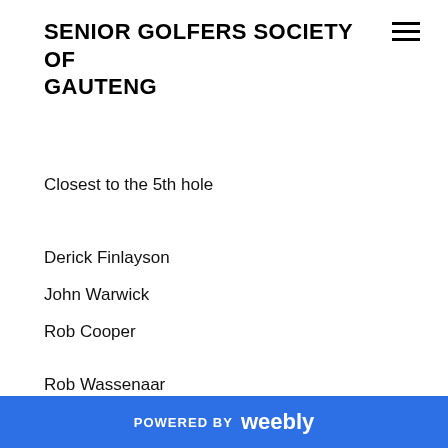SENIOR GOLFERS SOCIETY OF GAUTENG
Closest to the 5th hole
Derick Finlayson
John Warwick
Rob Cooper
Rob Wassenaar
+12
+11
+10 oco
POWERED BY weebly